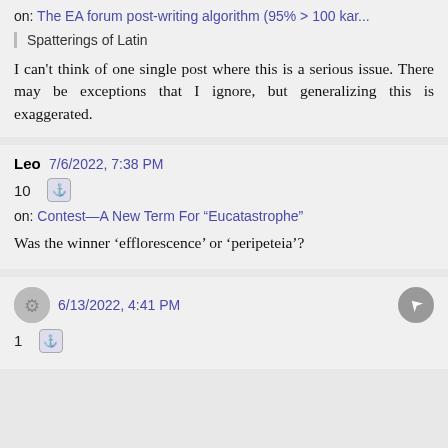on: The EA forum post-writing algorithm (95% > 100 kar...
Spatterings of Latin
I can't think of one single post where this is a serious issue. There may be exceptions that I ignore, but generalizing this is exaggerated.
Leo  7/6/2022, 7:38 PM
10
on: Contest—A New Term For "Eucatastrophe"
Was the winner 'efflorescence' or 'peripeteia'?
6/13/2022, 4:41 PM
1